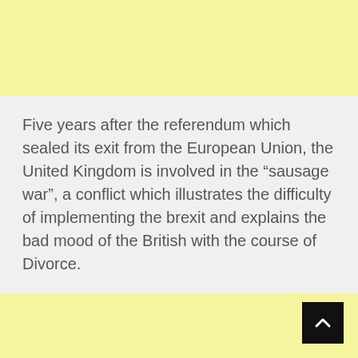Five years after the referendum which sealed its exit from the European Union, the United Kingdom is involved in the “sausage war”, a conflict which illustrates the difficulty of implementing the brexit and explains the bad mood of the British with the course of Divorce.